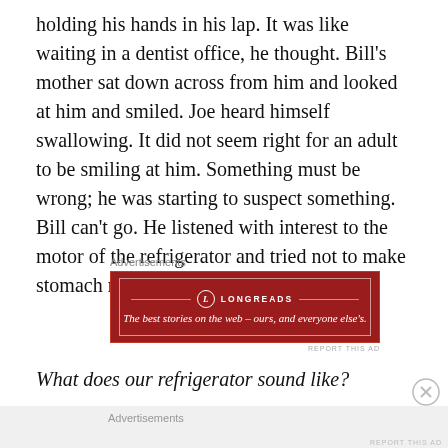holding his hands in his lap. It was like waiting in a dentist office, he thought. Bill's mother sat down across from him and looked at him and smiled. Joe heard himself swallowing. It did not seem right for an adult to be smiling at him. Something must be wrong; he was starting to suspect something. Bill can't go. He listened with interest to the motor of the refrigerator and tried not to make stomach noises.
[Figure (other): Longreads advertisement banner: dark red background with Longreads logo and tagline 'The best stories on the web – ours, and everyone else's.']
What does our refrigerator sound like?
Advertisements